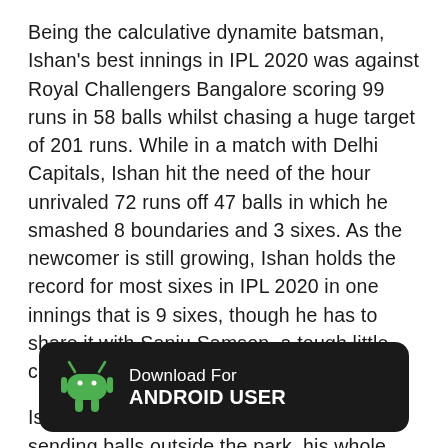Being the calculative dynamite batsman, Ishan's best innings in IPL 2020 was against Royal Challengers Bangalore scoring 99 runs in 58 balls whilst chasing a huge target of 201 runs. While in a match with Delhi Capitals, Ishan hit the need of the hour unrivaled 72 runs off 47 balls in which he smashed 8 boundaries and 3 sixes. As the newcomer is still growing, Ishan holds the record for most sixes in IPL 2020 in one innings that is 9 sixes, though he has to share it with Sanju Samson, a tough little chap.
Ishan Kishan is not the only contributor for sending balls outside the park, his whole team supports him in this crazy stunt. Yes, I'm talking about Mumbai
[Figure (infographic): Dark rounded banner with Android robot icon and text: Download For ANDROID USER]